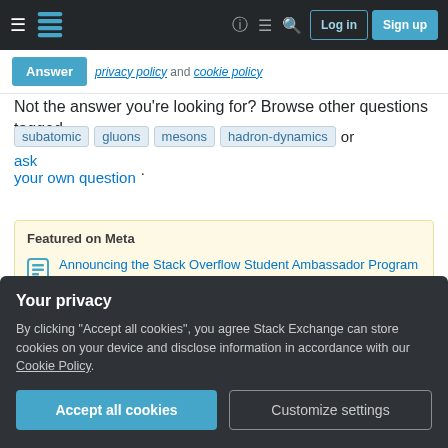Stack Exchange navigation bar with hamburger menu, logo, help, chat, search icons, Log in and Sign up buttons
Answer  privacy policy and cookie policy
Not the answer you're looking for? Browse other questions tagged subatomic gluons mesons hadron-dynamics or ask your own question.
Featured on Meta
Announcing the Stack Overflow Student Ambassador Program
Your privacy
By clicking "Accept all cookies", you agree Stack Exchange can store cookies on your device and disclose information in accordance with our Cookie Policy.
Accept all cookies  Customize settings